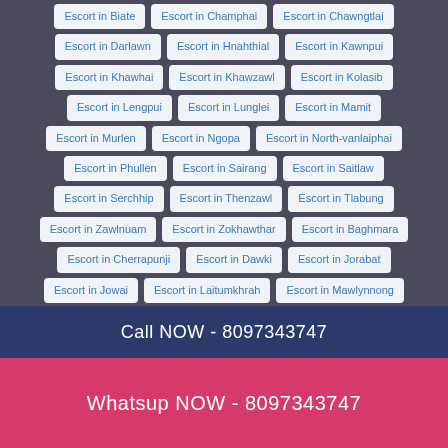Escort in Biate
Escort in Champhai
Escort in Chawngtlai
Escort in Darlawn
Escort in Hnahthial
Escort in Kawnpui
Escort in Khawhai
Escort in Khawzawl
Escort in Kolasib
Escort in Lengpui
Escort in Lunglei
Escort in Mamit
Escort in Murlen
Escort in Ngopa
Escort in North-vanlaiphai
Escort in Phullen
Escort in Sairang
Escort in Saitlaw
Escort in Serchhip
Escort in Thenzawl
Escort in Tlabung
Escort in Zawlnuam
Escort in Zokhawthar
Escort in Baghmara
Escort in Cherrapunji
Escort in Dawki
Escort in Jorabat
Escort in Jowai
Escort in Laitumkhrah
Escort in Mawlynnong
Escort in Mawsynram
Escort in Nongthymmai
Escort in Tura
Escort in Williamnagar
Escort in Andro
Escort in Bishnupur
Escort in Imphal
Escort in Kakching
Escort in Mayang
Call NOW - 8097343747
Whatsup NOW - 8097343747